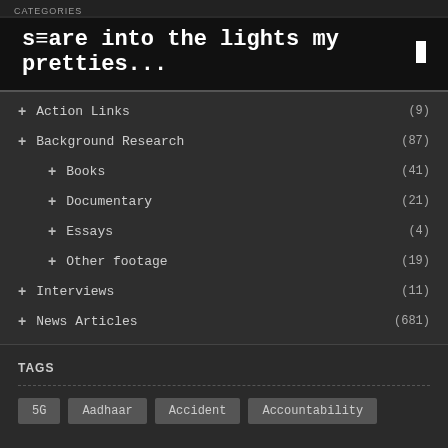CATEGORIES
stare into the lights my pretties...
+ Action Links (9)
+ Background Research (87)
+ Books (41)
+ Documentary (21)
+ Essays (4)
+ Other footage (19)
+ Interviews (11)
+ News Articles (681)
TAGS
5G
Aadhaar
Accident
Accountability